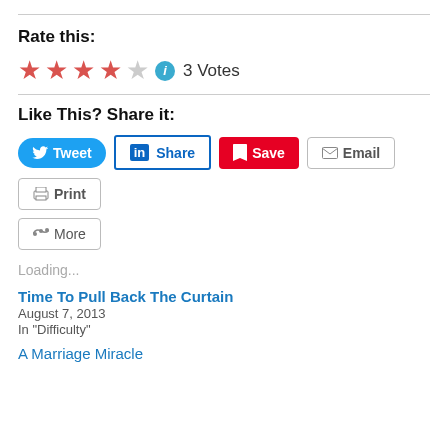Rate this:
★★★★☆  3 Votes
Like This? Share it:
Tweet  Share  Save  Email  Print  More
Loading...
Time To Pull Back The Curtain
August 7, 2013
In "Difficulty"
A Marriage Miracle